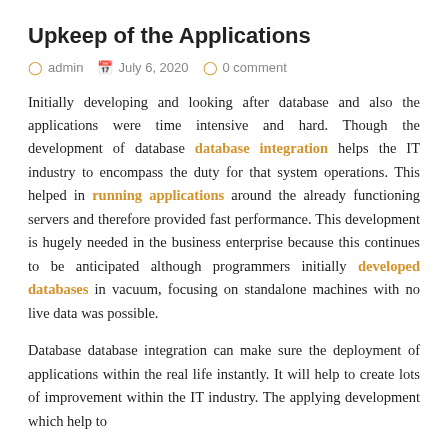Upkeep of the Applications
admin   July 6, 2020   0 comment
Initially developing and looking after database and also the applications were time intensive and hard. Though the development of database database integration helps the IT industry to encompass the duty for that system operations. This helped in running applications around the already functioning servers and therefore provided fast performance. This development is hugely needed in the business enterprise because this continues to be anticipated although programmers initially developed databases in vacuum, focusing on standalone machines with no live data was possible.
Database database integration can make sure the deployment of applications within the real life instantly. It will help to create lots of improvement within the IT industry. The applying development which help to